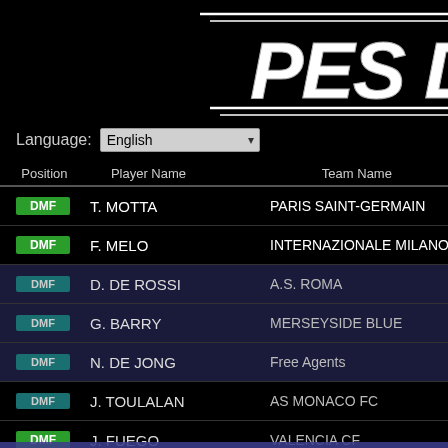[Figure (logo): PES Database logo with italic bold white text and decorative horizontal lines on black background]
Language: English
| Position | Player Name | Team Name |
| --- | --- | --- |
| DMF | T. MOTTA | PARIS SAINT-GERMAIN |
| DMF | F. MELO | INTERNAZIONALE MILANO |
| DMF | D. DE ROSSI | A.S. ROMA |
| DMF | G. BARRY | MERSEYSIDE BLUE |
| DMF | N. DE JONG | Free Agents |
| DMF | J. TOULALAN | AS MONACO FC |
| DMF | J. FUEGO | VALENCIA CF |
| DMF | M. JEDINAK | SOUTH NORWOOD |
| DMF | J-A. ROMAO | OLYMPIQUE DE MARSEILLE |
| DMF | LEÃO | REAL VALLADOLID |
| DMF | M. MOSTEFA | SC BASTIA |
This website uses cookies to ensure you get the best experience on our website. Learn more Got it!